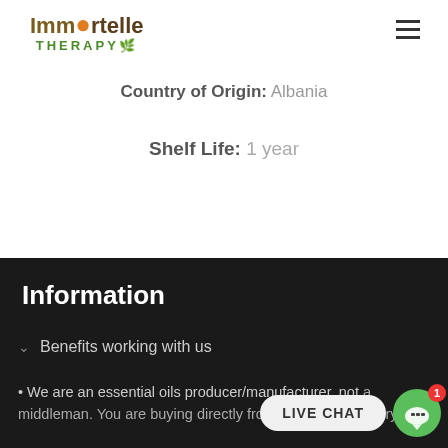[Figure (logo): Immortelle Therapy logo with orange drop icon and green therapy text]
Country of Origin: Albania
Shelf Life: 1 year
Select options
Information
Benefits working with us
• We are an essential oils producer/manufacturer, not a middleman. You are buying directly from our Farm/Distillery